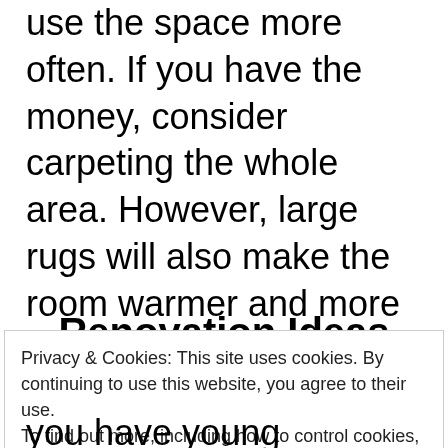use the space more often. If you have the money, consider carpeting the whole area. However, large rugs will also make the room warmer and more inviting, and they will likely be a cheaper option than wall-to-wall carpeting.
Renovation Ideas
Privacy & Cookies: This site uses cookies. By continuing to use this website, you agree to their use.
To find out more, including how to control cookies, see here: Cookie Policy
Close and accept
you have young children, a